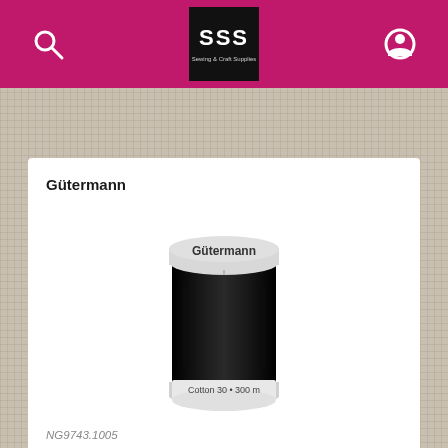SSS Sewing & Craft Supplies navigation bar
Gütermann
[Figure (photo): A spool of Gütermann Cotton 30 thread in black color, 300m. The spool has a silver/grey top label reading 'Gütermann' and a bottom label reading 'Cotton 30 • 300 m'. The thread wound around the spool is black.]
NG9743.1005
Cotton 30 Machine Embroidery Thread 300m, Col 1005
RRP $6.65